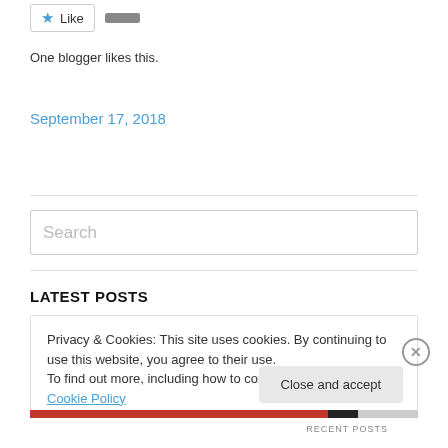[Figure (other): Like button with blue star icon and a gray bar indicating count]
One blogger likes this.
September 17, 2018
[Figure (other): Search input box with placeholder text 'Search']
LATEST POSTS
Privacy & Cookies: This site uses cookies. By continuing to use this website, you agree to their use.
To find out more, including how to control cookies, see here: Cookie Policy
Close and accept